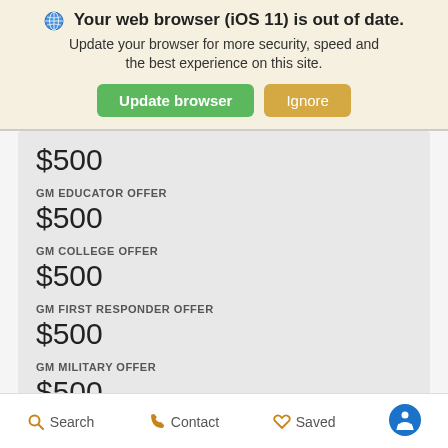Your web browser (iOS 11) is out of date. Update your browser for more security, speed and the best experience on this site.
$500
GM EDUCATOR OFFER
$500
GM COLLEGE OFFER
$500
GM FIRST RESPONDER OFFER
$500
GM MILITARY OFFER
$500
Search   Contact   Saved